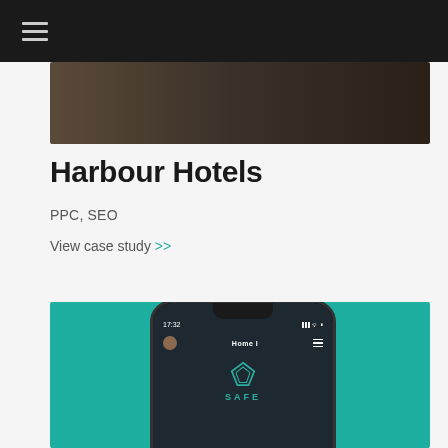Navigation menu (hamburger icon)
[Figure (photo): Hero image with dark brown/wood texture background]
Harbour Hotels
PPC, SEO
View case study >>
[Figure (screenshot): Mobile app screenshot showing SAFE app on smartphone with teal/green background. Phone displays 17:32 time, Home menu, and SAFE logo with diamond icon]